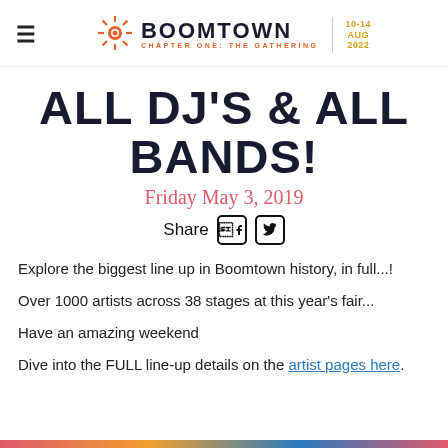BOOMTOWN CHAPTER ONE: THE GATHERING 10-14 AUG 2022
ALL DJ'S & ALL BANDS!
Friday May 3, 2019
Share
Explore the biggest line up in Boomtown history, in full...!
Over 1000 artists across 38 stages at this year's fair...
Have an amazing weekend
Dive into the FULL line-up details on the artist pages here.